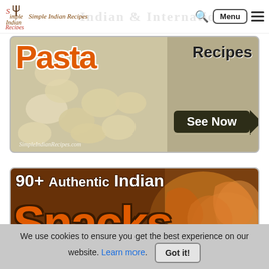Simple Indian Recipes — Navigation bar with logo, search icon, Menu button, and hamburger icon
[Figure (screenshot): Pasta Recipes banner image showing macaroni pasta with creamy sauce. Text overlay: 'Pasta Recipes' with 'See Now' arrow button. Watermark: SimpleIndianRecipes.com]
[Figure (screenshot): 90+ Authentic Indian Snacks banner image showing fried snacks. Text overlay: '90+ Authentic Indian Snacks' in large bold orange letters.]
We use cookies to ensure you get the best experience on our website. Learn more. Got it!